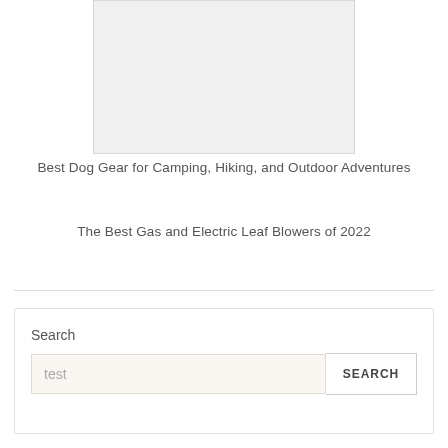[Figure (photo): Light gray placeholder image area]
Best Dog Gear for Camping, Hiking, and Outdoor Adventures
The Best Gas and Electric Leaf Blowers of 2022
Search
test
SEARCH